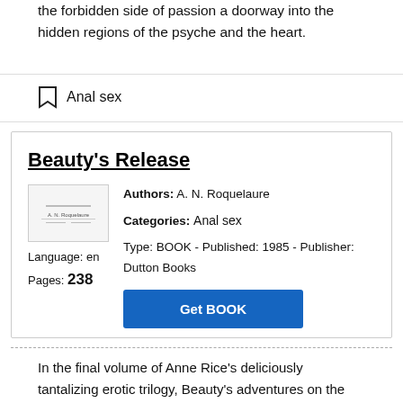the forbidden side of passion a doorway into the hidden regions of the psyche and the heart.
Anal sex
Beauty's Release
Authors: A. N. Roquelaure
Categories: Anal sex
Language: en
Pages: 238
Type: BOOK - Published: 1985 - Publisher: Dutton Books
In the final volume of Anne Rice's deliciously tantalizing erotic trilogy, Beauty's adventures on the dark side of sexuality make her the bound captive of